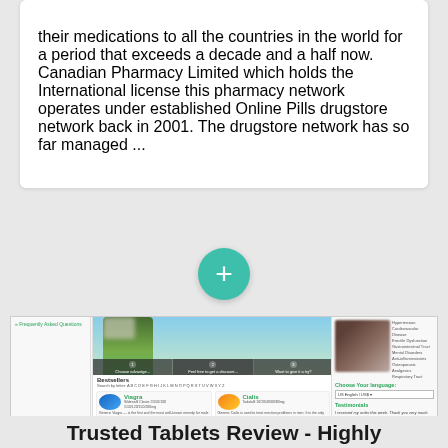their medications to all the countries in the world for a period that exceeds a decade and a half now. Canadian Pharmacy Limited which holds the International license this pharmacy network operates under established Online Pills drugstore network back in 2001. The drugstore network has so far managed ...
[Figure (screenshot): Screenshot of an online pharmacy website showing navigation sidebar with FAQ/Contact/Track Order links, a hero banner with a person in green, tab navigation, bestsellers section with Viagra and Cialis products, right sidebar with categories and language selector, and testimonials section.]
Trusted Tablets Review - Highly